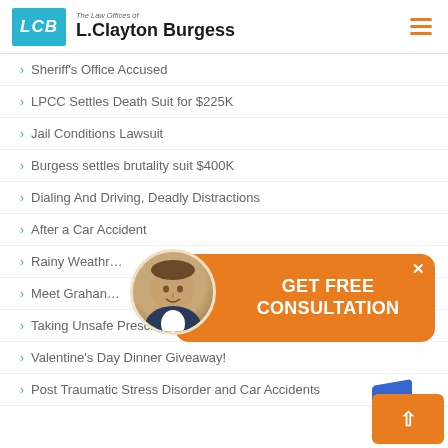The Law Offices of L. Clayton Burgess
Sheriff's Office Accused
LPCC Settles Death Suit for $225K
Jail Conditions Lawsuit
Burgess settles brutality suit $400K
Dialing And Driving, Deadly Distractions
After a Car Accident
Rainy Weather...
Meet Graham...
Taking Unsafe Prescription Drugs?
Valentine's Day Dinner Giveaway!
Post Traumatic Stress Disorder and Car Accidents
[Figure (infographic): GET FREE CONSULTATION popup banner with attorney photo avatar and orange background]